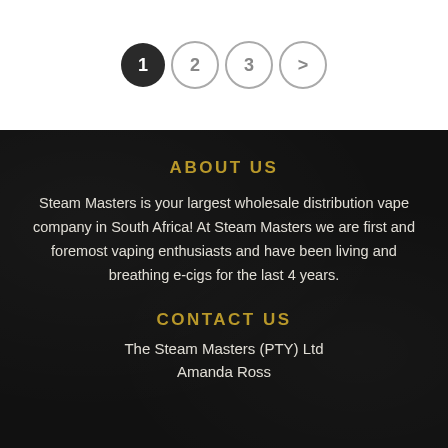[Figure (other): Pagination navigation with circles: 1 (active/filled dark), 2, 3, and > arrow (inactive/outlined)]
ABOUT US
Steam Masters is your largest wholesale distribution vape company in South Africa! At Steam Masters we are first and foremost vaping enthusiasts and have been living and breathing e-cigs for the last 4 years.
CONTACT US
The Steam Masters (PTY) Ltd
Amanda Ross